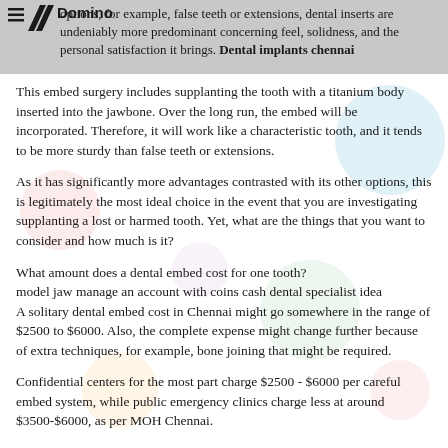options, for example, false teeth or extensions, dental inserts are undeniably more predominant concerning feel, solidness, and the personal satisfaction it brings. Dental implants chennai
This embed surgery includes supplanting the tooth with a titanium body inserted into the jawbone. Over the long run, the embed will be incorporated. Therefore, it will work like a characteristic tooth, and it tends to be more sturdy than false teeth or extensions.
As it has significantly more advantages contrasted with its other options, this is legitimately the most ideal choice in the event that you are investigating supplanting a lost or harmed tooth. Yet, what are the things that you want to consider and how much is it?
What amount does a dental embed cost for one tooth?
model jaw manage an account with coins cash dental specialist idea
A solitary dental embed cost in Chennai might go somewhere in the range of $2500 to $6000. Also, the complete expense might change further because of extra techniques, for example, bone joining that might be required.
Confidential centers for the most part charge $2500 - $6000 per careful embed system, while public emergency clinics charge less at around $3500-$6000, as per MOH Chennai.
Factors that impact valuing and are dental inserts reasonable?